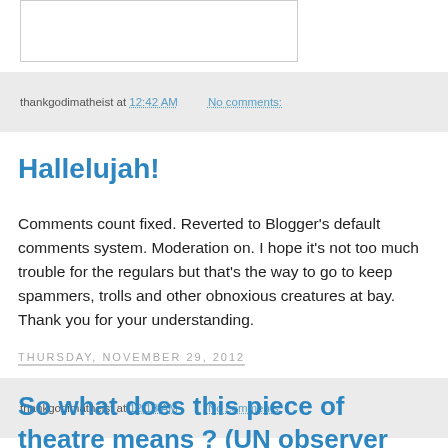[Figure (other): White box with border, partial image area at top of page]
thankgodimatheist at 12:42 AM   No comments:
Hallelujah!
Comments count fixed. Reverted to Blogger's default comments system. Moderation on. I hope it's not too much trouble for the regulars but that's the way to go to keep spammers, trolls and other obnoxious creatures at bay. Thank you for your understanding.
thankgodimatheist at 12:18 AM   No comments:
Thursday, November 29, 2012
So what does this piece of theatre means ? (UN observer status)